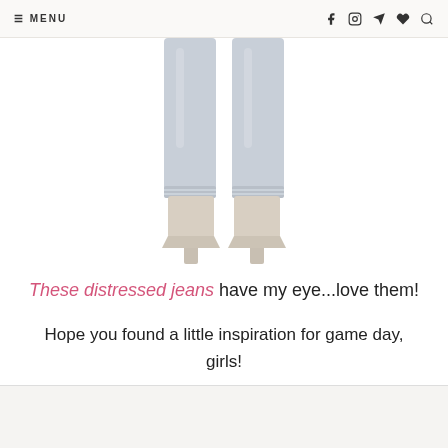≡ MENU   [social icons]
[Figure (photo): Photo of legs wearing light blue/grey distressed jeans and beige/cream pointed-toe heels, cropped from knees down, on white background]
These distressed jeans have my eye...love them!
Hope you found a little inspiration for game day, girls!